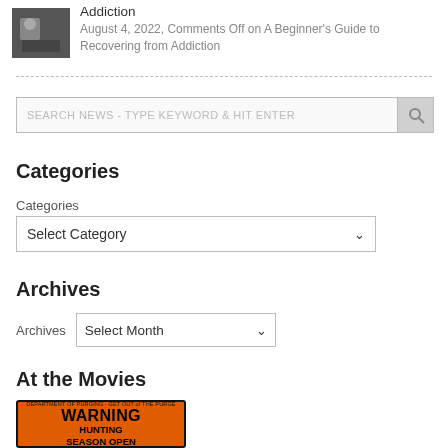[Figure (photo): Small thumbnail image of a person, dark tones]
Addiction
August 4, 2022, Comments Off on A Beginner's Guide to Recovering from Addiction
SEARCH NEWS - TYPE KEYWORD & HIT ENTER
Categories
Categories
Select Category
Archives
Archives  Select Month
At the Movies
[Figure (photo): Orange WARNING sign reading 'WARNING HUNTING SEASON OPEN' — movie poster for The Purge]